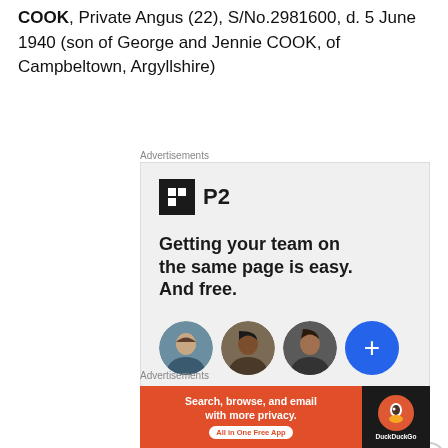COOK, Private Angus (22), S/No.2981600, d. 5 June 1940 (son of George and Jennie COOK, of Campbeltown, Argyllshire)
[Figure (screenshot): Advertisement for P2 collaborative software. Shows P2 logo, tagline 'Getting your team on the same page is easy. And free.' with three user avatar photos and a blue plus button.]
[Figure (screenshot): Advertisement for DuckDuckGo browser app. Orange background with text 'Search, browse, and email with more privacy. All in One Free App' alongside DuckDuckGo logo on dark background.]